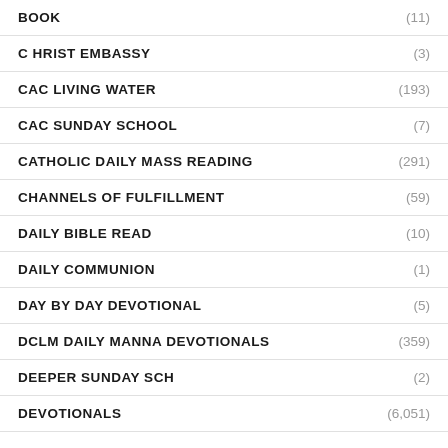BOOK (11)
C HRIST EMBASSY (3)
CAC LIVING WATER (193)
CAC SUNDAY SCHOOL (7)
CATHOLIC DAILY MASS READING (291)
CHANNELS OF FULFILLMENT (59)
DAILY BIBLE READ (10)
DAILY COMMUNION (1)
DAY BY DAY DEVOTIONAL (5)
DCLM DAILY MANNA DEVOTIONALS (359)
DEEPER SUNDAY SCH (2)
DEVOTIONALS (6,051)